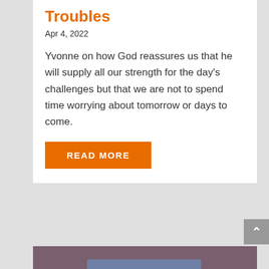Troubles
Apr 4, 2022
Yvonne on how God reassures us that he will supply all our strength for the day's challenges but that we are not to spend time worrying about tomorrow or days to come.
READ MORE
[Figure (photo): Dark silhouette of a person with raised hand against a mauve/purple background, with an orange triangle shape and a blurred blue banner]